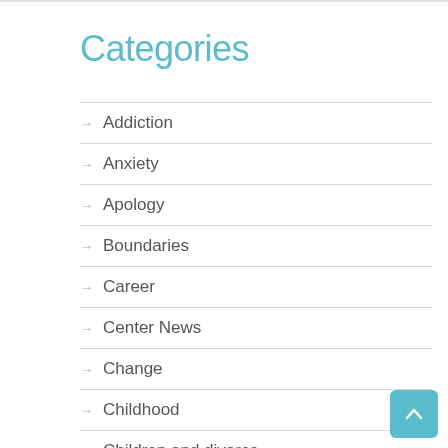Categories
Addiction
Anxiety
Apology
Boundaries
Career
Center News
Change
Childhood
Children and divorce
Communication
conflict